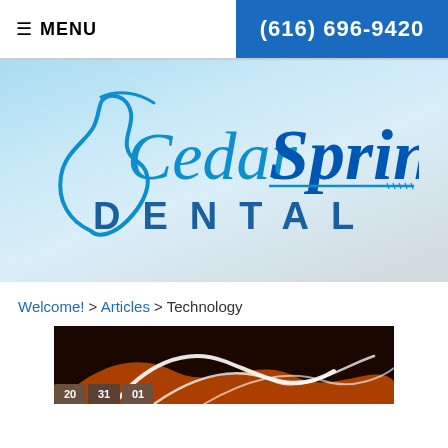≡ MENU   (616) 696-9420
[Figure (logo): Cedar Springs Dental logo with stylized tooth graphic and blue text on gradient blue-grey background]
Welcome! > Articles > Technology
[Figure (photo): Abstract technology image with glowing orange and white wave lines on dark background, with small numbered tabs at the bottom left showing 20, 31, 01]